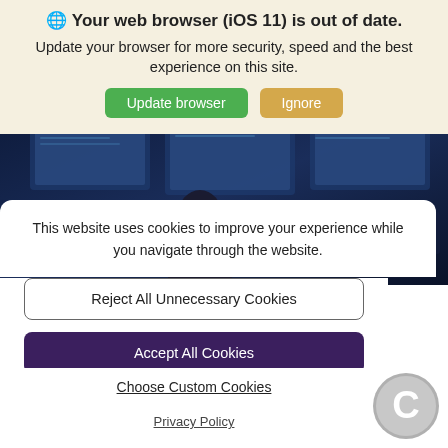Your web browser (iOS 11) is out of date.
Update your browser for more security, speed and the best experience on this site.
[Figure (screenshot): Dark blue background showing a silhouette of a person at a computer monitor with multiple screens visible]
This website uses cookies to improve your experience while you navigate through the website.
Reject All Unnecessary Cookies
Accept All Cookies
Choose Custom Cookies
Privacy Policy
[Figure (logo): Gray circle with white letter C inside]